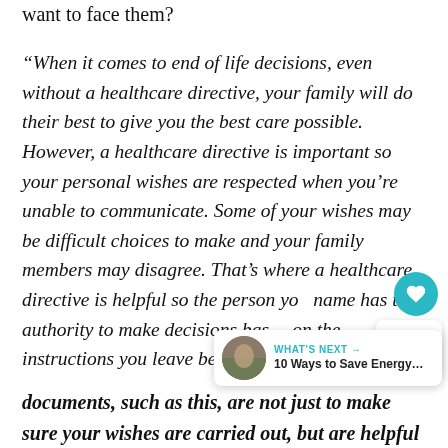want to face them?
“When it comes to end of life decisions, even without a healthcare directive, your family will do their best to give you the best care possible. However, a healthcare directive is important so your personal wishes are respected when you’re unable to communicate. Some of your wishes may be difficult choices to make and your family members may disagree. That’s where a healthcare directive is helpful so the person you name has the authority to make decisions based on the instructions you leave behind.
documents, such as this, are not just to make sure your wishes are carried out, but are helpful